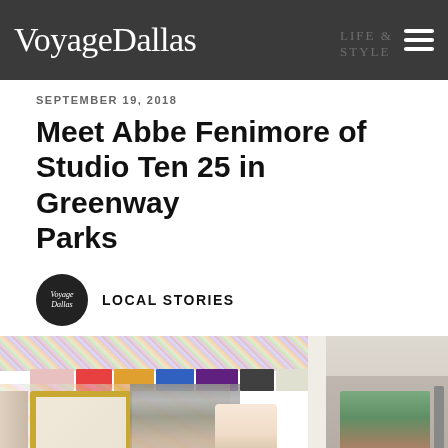VoyageDallas
SEPTEMBER 19, 2018
Meet Abbe Fenimore of Studio Ten 25 in Greenway Parks
LOCAL STORIES
[Figure (photo): Interior of Studio Ten 25 boutique store in Greenway Parks showing clothing racks, stacked boxes, floral wallpaper, a large gold-framed mirror, and a smiling woman standing in the middle of the store.]
[Figure (infographic): Social sharing buttons: Facebook (blue), Twitter (light blue), Pinterest (red) with icons f, bird, p]